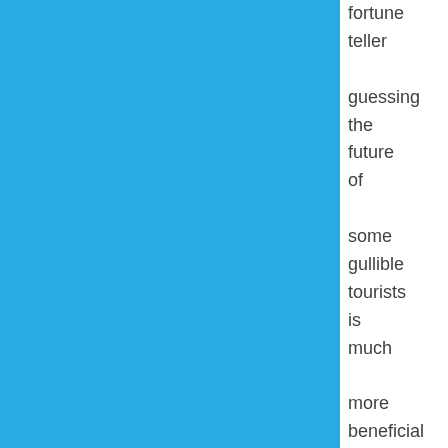fortune teller guessing the future of some gullible tourists is much more beneficial than stealing their wallets. And if the fortune